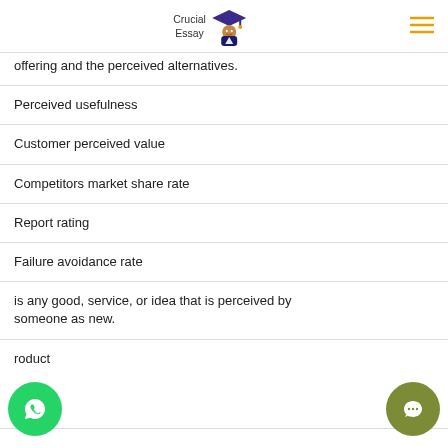Crucial Essay
offering and the perceived alternatives.
Perceived usefulness
Customer perceived value
Competitors market share rate
Report rating
Failure avoidance rate
is any good, service, or idea that is perceived by someone as new.
roduct